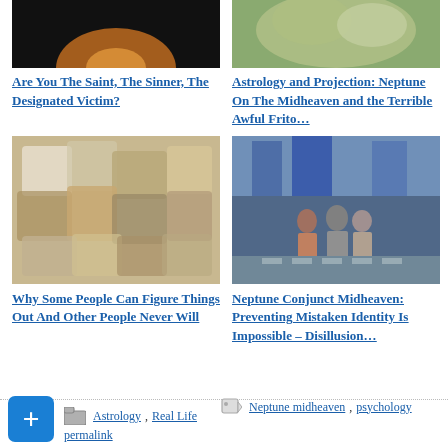[Figure (photo): Dark image with orange/amber glow at bottom, likely a sunset or candle]
[Figure (photo): Greenish blurry image, possibly a cat or foliage]
Are You The Saint, The Sinner, The Designated Victim?
Astrology and Projection: Neptune On The Midheaven and the Terrible Awful Frito…
[Figure (photo): Colorful jigsaw puzzle pieces scattered]
[Figure (photo): Painting or illustration of people on a city street]
Why Some People Can Figure Things Out And Other People Never Will
Neptune Conjunct Midheaven: Preventing Mistaken Identity Is Impossible – Disillusion…
Astrology, Real Life
Neptune midheaven, psychology
permalink